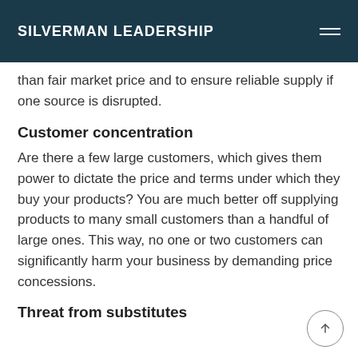SILVERMAN LEADERSHIP
than fair market price and to ensure reliable supply if one source is disrupted.
Customer concentration
Are there a few large customers, which gives them power to dictate the price and terms under which they buy your products? You are much better off supplying products to many small customers than a handful of large ones. This way, no one or two customers can significantly harm your business by demanding price concessions.
Threat from substitutes